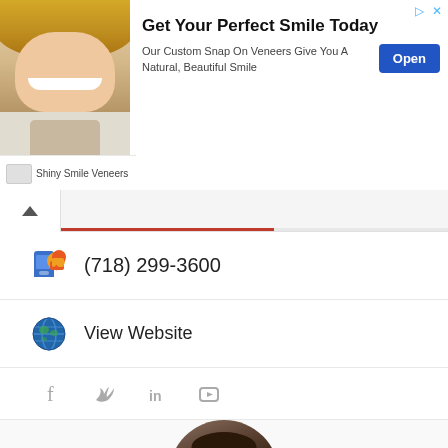[Figure (infographic): Advertisement banner for Shiny Smile Veneers showing a woman smiling with text 'Get Your Perfect Smile Today', 'Our Custom Snap On Veneers Give You A Natural, Beautiful Smile', an Open button, and the brand name Shiny Smile Veneers]
(718) 299-3600
View Website
[Figure (infographic): Social media icons: Facebook, Twitter, LinkedIn, YouTube]
[Figure (photo): Circular photo of Dr. Farzin Farokhzadeh wearing a white coat]
Dr. Farzin Farokhzadeh
505 Claremont Parkway, Bronx, NY 10457